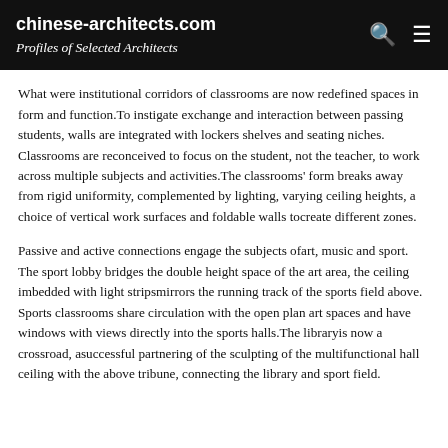chinese-architects.com
Profiles of Selected Architects
What were institutional corridors of classrooms are now redefined spaces in form and function.To instigate exchange and interaction between passing students, walls are integrated with lockers shelves and seating niches. Classrooms are reconceived to focus on the student, not the teacher, to work across multiple subjects and activities.The classrooms' form breaks away from rigid uniformity, complemented by lighting, varying ceiling heights, a choice of vertical work surfaces and foldable walls tocreate different zones.
Passive and active connections engage the subjects ofart, music and sport. The sport lobby bridges the double height space of the art area, the ceiling imbedded with light stripsmirrors the running track of the sports field above. Sports classrooms share circulation with the open plan art spaces and have windows with views directly into the sports halls.The libraryis now a crossroad, asuccessful partnering of the sculpting of the multifunctional hall ceiling with the above tribune, connecting the library and sport field.